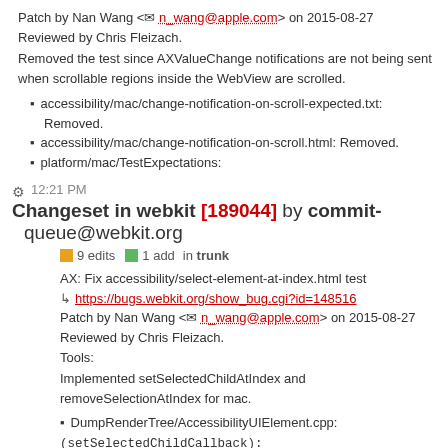Patch by Nan Wang <n_wang@apple.com> on 2015-08-27
Reviewed by Chris Fleizach.
Removed the test since AXValueChange notifications are not being sent when scrollable regions inside the WebView are scrolled.
accessibility/mac/change-notification-on-scroll-expected.txt: Removed.
accessibility/mac/change-notification-on-scroll.html: Removed.
platform/mac/TestExpectations:
12:21 PM Changeset in webkit [189044] by commit-queue@webkit.org
9 edits  1 add  in trunk
AX: Fix accessibility/select-element-at-index.html test
https://bugs.webkit.org/show_bug.cgi?id=148516
Patch by Nan Wang <n_wang@apple.com> on 2015-08-27
Reviewed by Chris Fleizach.
Tools:
Implemented setSelectedChildAtIndex and removeSelectionAtIndex for mac.
DumpRenderTree/AccessibilityUIElement.cpp:
(setSelectedChildCallback):
(setSelectedChildAtIndexCallback):
(removeSelectionAtIndexCallback):
(elementAtPointCallback):
(sentenceAtOffsetCallback):
(stringForSelectionCallback):